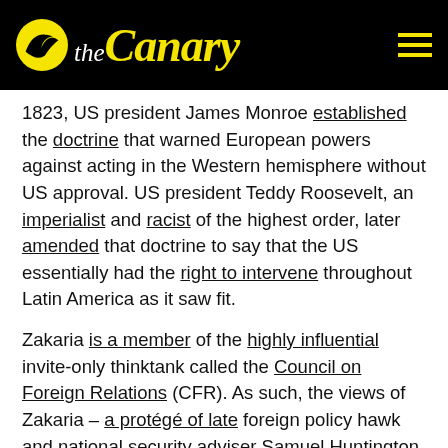the Canary
1823, US president James Monroe established the doctrine that warned European powers against acting in the Western hemisphere without US approval. US president Teddy Roosevelt, an imperialist and racist of the highest order, later amended that doctrine to say that the US essentially had the right to intervene throughout Latin America as it saw fit.
Zakaria is a member of the highly influential invite-only thinktank called the Council on Foreign Relations (CFR). As such, the views of Zakaria – a protégé of late foreign policy hawk and national security adviser Samuel Huntington (also a CFR member) – largely reflect the views of the foreign policy establishment.
Iraq veteran Gabbard, on the other hand, has made opposition to 'regime change' wars a key part of her 2020 campaign. The fact that she is also a member of the CFR is significant, as it